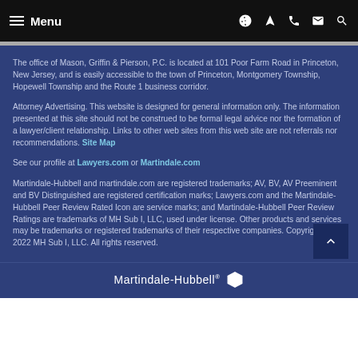Menu
The office of Mason, Griffin & Pierson, P.C. is located at 101 Poor Farm Road in Princeton, New Jersey, and is easily accessible to the town of Princeton, Montgomery Township, Hopewell Township and the Route 1 business corridor.
Attorney Advertising. This website is designed for general information only. The information presented at this site should not be construed to be formal legal advice nor the formation of a lawyer/client relationship. Links to other web sites from this web site are not referrals nor recommendations. Site Map
See our profile at Lawyers.com or Martindale.com
Martindale-Hubbell and martindale.com are registered trademarks; AV, BV, AV Preeminent and BV Distinguished are registered certification marks; Lawyers.com and the Martindale-Hubbell Peer Review Rated Icon are service marks; and Martindale-Hubbell Peer Review Ratings are trademarks of MH Sub I, LLC, used under license. Other products and services may be trademarks or registered trademarks of their respective companies. Copyright © 2022 MH Sub I, LLC. All rights reserved.
Martindale-Hubbell